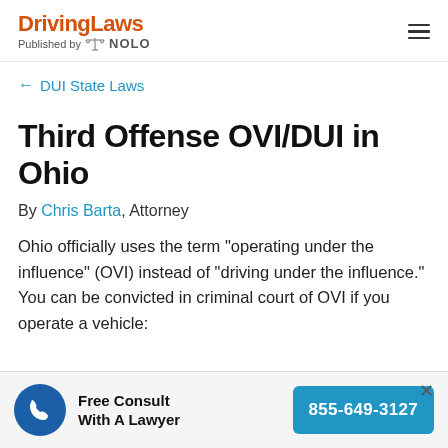DrivingLaws Published by NOLO
← DUI State Laws
Third Offense OVI/DUI in Ohio
By Chris Barta, Attorney
Ohio officially uses the term "operating under the influence" (OVI) instead of "driving under the influence." You can be convicted in criminal court of OVI if you operate a vehicle:
Free Consult With A Lawyer  855-649-3127